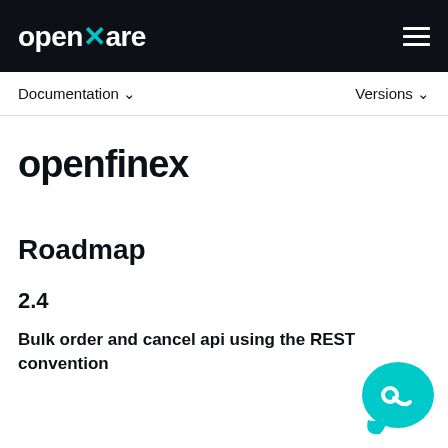openware
Documentation ∨   Versions ∨
openfinex
Roadmap
2.4
Bulk order and cancel api using the REST convention